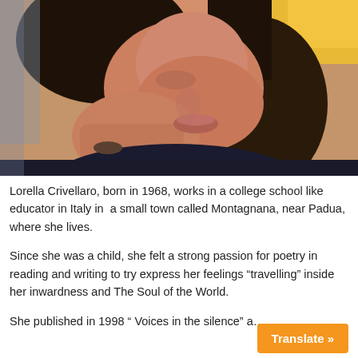[Figure (photo): Close-up photo of a woman with dark hair, resting her face on her hand, wearing a ring, dark top with light pattern, blurred orange/yellow background]
Lorella Crivellaro, born in 1968, works in a college school like educator in Italy in  a small town called Montagnana, near Padua, where she lives.
Since she was a child, she felt a strong passion for poetry in reading and writing to try express her feelings “travelling” inside her inwardness and The Soul of the World.
She published in 1998 “ Voices in the silence” a…